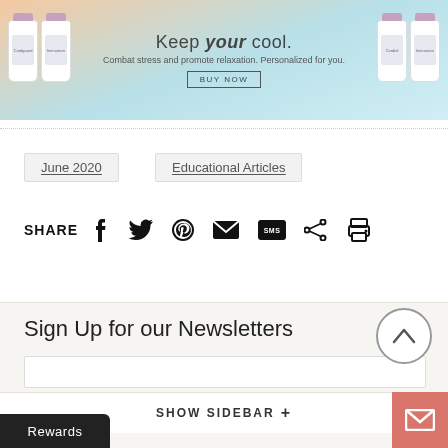[Figure (illustration): Advertisement banner with light blue/peach gradient background, supplement bottles on left and right, text 'Keep your cool. Combat stress and promote relaxation. Personalized for you.' and a BUY NOW button]
June 2020
Educational Articles
SHARE [facebook] [twitter] [pinterest] [email] [SMS] [share] [print]
Sign Up for our Newsletters
SHOW SIDEBAR +
Rewards